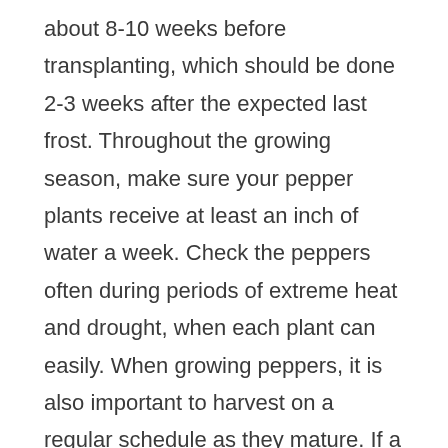about 8-10 weeks before transplanting, which should be done 2-3 weeks after the expected last frost. Throughout the growing season, make sure your pepper plants receive at least an inch of water a week. Check the peppers often during periods of extreme heat and drought, when each plant can easily. When growing peppers, it is also important to harvest on a regular schedule as they mature. If a plant becomes too overloaded, it will actually stop producing new flowers. Regular Watering Is A Must: Although peppers are one of the most drought tolerant of vegetables in the garden, regular watering ( on average, about 1/2 to 3/4 of a gallon per.
Peppers are easily grown and can be prolific producers. With the variety of colors, shapes and flavors available